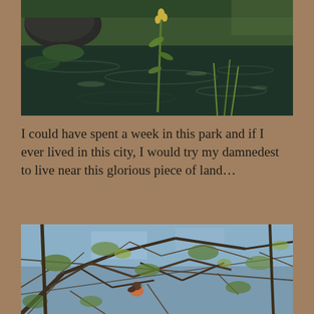[Figure (photo): Photo of a pond or water body with ripples, dark water with green aquatic plants and a tall flowering plant in the foreground, sunlight reflecting on the water surface.]
I could have spent a week in this park and if I ever lived in this city, I would try my damnedest to live near this glorious piece of land…
[Figure (photo): Photo looking up through dense tree branches and leaves, with a small bird (possibly a robin) visible among the tangled branches, sky visible in the background.]